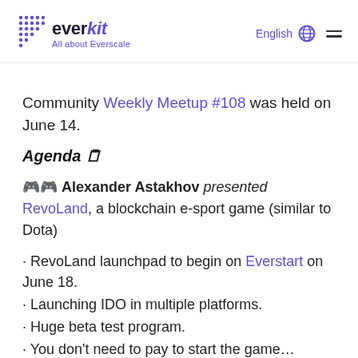everkit — All about Everscale | English
Community Weekly Meetup #108 was held on June 14.
Agenda 🗒
🎮 Alexander Astakhov presented RevoLand, a blockchain e-sport game (similar to Dota)
RevoLand launchpad to begin on Everstart on June 18.
Launching IDO in multiple platforms.
Huge beta test program.
You don't need to pay to start the game…